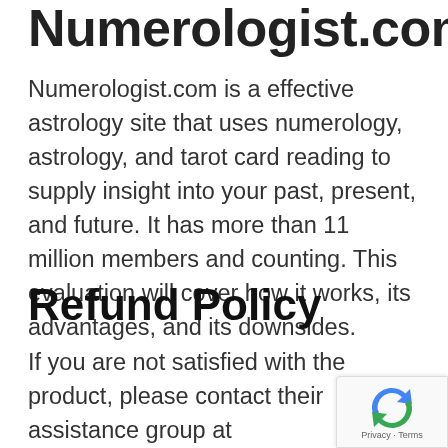Numerologist.com
Numerologist.com is a effective astrology site that uses numerology, astrology, and tarot card reading to supply insight into your past, present, and future. It has more than 11 million members and counting. This evaluation will cover how it works, its advantages, and its downsides.
Refund Policy
If you are not satisfied with the product, please contact their assistance group at support@numerologist.com for a full refund within 2 week of purchase. After the 14-day period, no refunds will be issued.